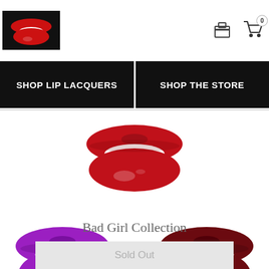[Figure (screenshot): E-commerce website header with a small red lips logo on the left and shopping bag and cart icons on the right. Cart shows badge with 0.]
[Figure (other): Two black navigation buttons side by side: 'SHOP LIP LACQUERS' on the left and 'SHOP THE STORE' on the right.]
[Figure (photo): Close-up photo of lips with bright red glossy lipstick, centered at top of product section.]
[Figure (photo): Close-up photo of lips with glossy purple/magenta lipstick on left side.]
[Figure (photo): Close-up photo of lips with glossy dark red/burgundy lipstick on right side.]
Bad Girl Collection
Sold Out